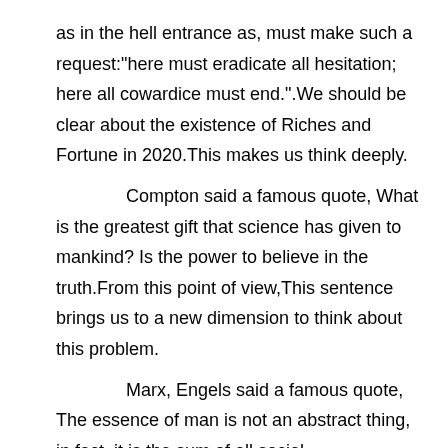as in the hell entrance as, must make such a request:"here must eradicate all hesitation; here all cowardice must end.".We should be clear about the existence of Riches and Fortune in 2020.This makes us think deeply.

Compton said a famous quote, What is the greatest gift that science has given to mankind? Is the power to believe in the truth.From this point of view,This sentence brings us to a new dimension to think about this problem.

Marx, Engels said a famous quote, The essence of man is not an abstract thing, in fact, it is the sum of all social relations.Riches and Fortune in 2020 has become a hot topic among people，especially among the young and heated debates are right on their way.I hope everybody can also understand this sentence well.